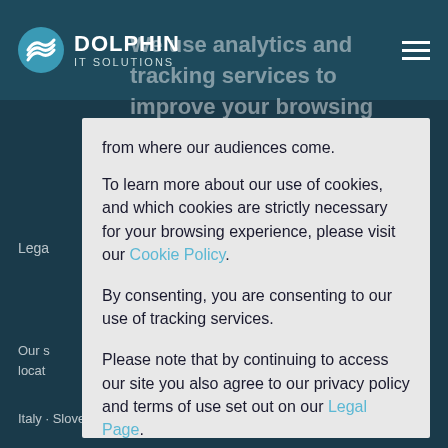Dolphin IT Solutions
We use analytics and tracking services to improve your browsing experience on our site, analyse site traffic and understand from where our audiences come.
To learn more about our use of cookies, and which cookies are strictly necessary for your browsing experience, please visit our Cookie Policy.
By consenting, you are consenting to our use of tracking services.
Please note that by continuing to access our site you also agree to our privacy policy and terms of use set out on our Legal Page.